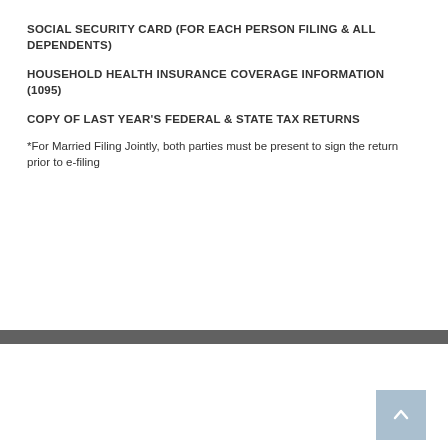SOCIAL SECURITY CARD (FOR EACH PERSON FILING & ALL DEPENDENTS)
HOUSEHOLD HEALTH INSURANCE COVERAGE INFORMATION (1095)
COPY OF LAST YEAR'S FEDERAL & STATE TAX RETURNS
*For Married Filing Jointly, both parties must be present to sign the return prior to e-filing